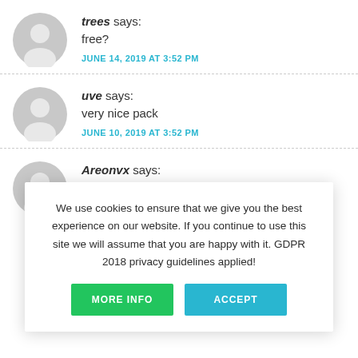trees says: free? JUNE 14, 2019 AT 3:52 PM
uve says: very nice pack JUNE 10, 2019 AT 3:52 PM
Areonvx says: MAY 29, 2019 AT 12:41 PM
We use cookies to ensure that we give you the best experience on our website. If you continue to use this site we will assume that you are happy with it. GDPR 2018 privacy guidelines applied!